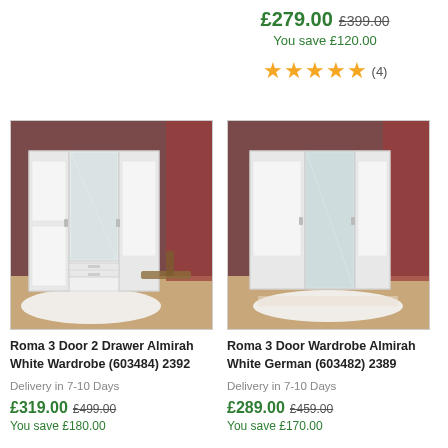£279.00  £399.00  You save £120.00
[Figure (other): Five gold stars rating with review count (4)]
[Figure (photo): Roma 3 Door 2 Drawer Almirah White Wardrobe product photo in bedroom setting]
Roma 3 Door 2 Drawer Almirah White Wardrobe (603484) 2392
Delivery in 7-10 Days
£319.00  £499.00  You save £180.00
[Figure (photo): Roma 3 Door Wardrobe Almirah White German product photo in bedroom setting]
Roma 3 Door Wardrobe Almirah White German (603482) 2389
Delivery in 7-10 Days
£289.00  £459.00  You save £170.00